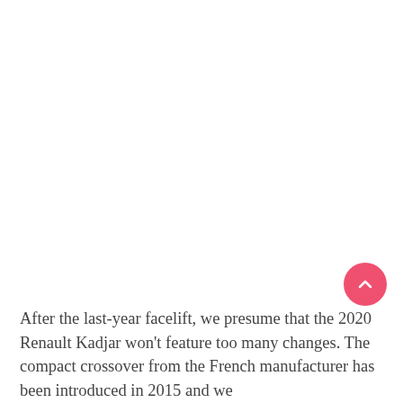After the last-year facelift, we presume that the 2020 Renault Kadjar won't feature too many changes. The compact crossover from the French manufacturer has been introduced in 2015 and we